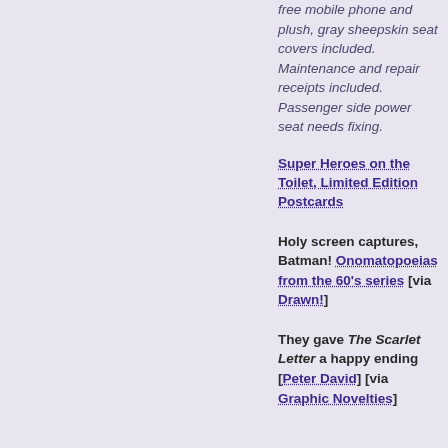free mobile phone and plush, gray sheepskin seat covers included. Maintenance and repair receipts included. Passenger side power seat needs fixing.
Super Heroes on the Toilet, Limited Edition Postcards
Holy screen captures, Batman! Onomatopoeias from the 60's series [via Drawn!]
They gave The Scarlet Letter a happy ending [Peter David] [via Graphic Novelties]